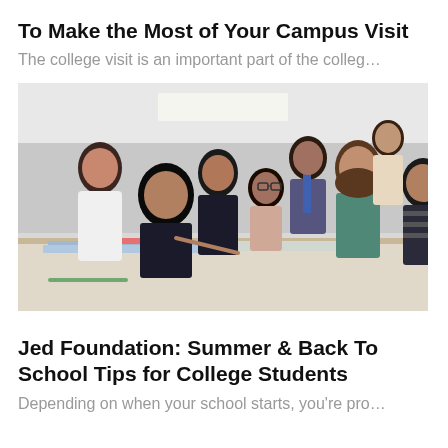To Make the Most of Your Campus Visit
The college visit is an important part of the colleg…
[Figure (photo): Group of diverse high school or college students gathered around a table, looking at papers or books, in a classroom or study setting. One student is pointing at the material while others look on.]
Jed Foundation: Summer & Back To School Tips for College Students
Depending on when your school starts, you're pro…